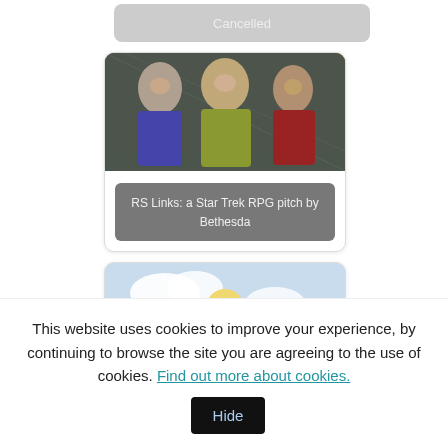[Figure (screenshot): Grey rounded button/card with text 'Cancelled']
[Figure (screenshot): Card with Star Trek characters photo and overlay label 'RS Links: a Star Trek RPG pitch by Bethesda']
[Figure (screenshot): Card with Fallout Brotherhood of Steel character illustration and overlay label 'Fallout: Brotherhood of Stee']
This website uses cookies to improve your experience, by continuing to browse the site you are agreeing to the use of cookies. Find out more about cookies.
Hide